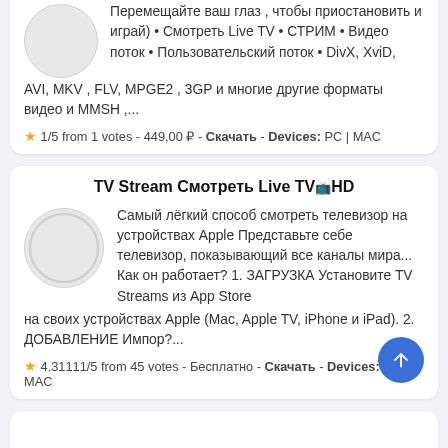Перемещайте ваш глаз , чтобы приостановить и играй) • Смотреть Live TV • СТРИМ • Видео поток • Пользовательский поток • DivX, XviD, AVI, MKV , FLV, MPGE2 , 3GP и многие другие форматы видео и MMSH ,...
★ 1/5 from 1 votes - 449,00 ₽ - Скачать - Devices: PC | MAC
TV Stream Смотреть Live TV HD
Самый лёгкий способ смотреть телевизор на устройствах Apple Представьте себе телевизор, показывающий все каналы мира... Как он работает? 1. ЗАГРУЗКА Установите TV Streams из App Store на своих устройствах Apple (Mac, Apple TV, iPhone и iPad). 2. ДОБАВЛЕНИЕ Импор?...
★ 4.31111/5 from 45 votes - Бесплатно - Скачать - Devices: PC | MAC